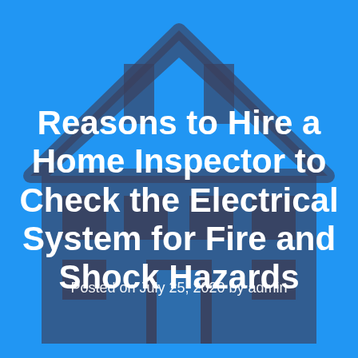[Figure (illustration): A dark blue/grey house silhouette icon on a bright blue background, showing a house with a pitched roof, windows, and a door in the center.]
Reasons to Hire a Home Inspector to Check the Electrical System for Fire and Shock Hazards
Posted on July 25, 2020 by admin